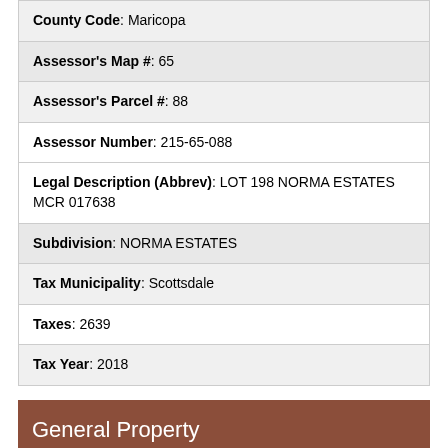| County Code: Maricopa |
| Assessor's Map #: 65 |
| Assessor's Parcel #: 88 |
| Assessor Number: 215-65-088 |
| Legal Description (Abbrev): LOT 198 NORMA ESTATES MCR 017638 |
| Subdivision: NORMA ESTATES |
| Tax Municipality: Scottsdale |
| Taxes: 2639 |
| Tax Year: 2018 |
General Property Description
| Dwelling Type: Single Family – Detached |